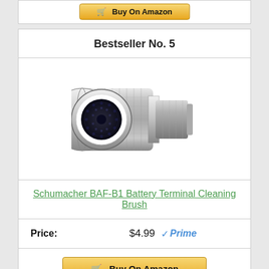[Figure (screenshot): Buy On Amazon button stub at top of page]
Bestseller No. 5
[Figure (photo): Schumacher BAF-B1 Battery Terminal Cleaning Brush — cylindrical chrome/silver metal tool with black bristle opening on one end, knurled grip texture on body]
Schumacher BAF-B1 Battery Terminal Cleaning Brush
Price: $4.99 Prime
[Figure (screenshot): Buy On Amazon button at bottom of card]